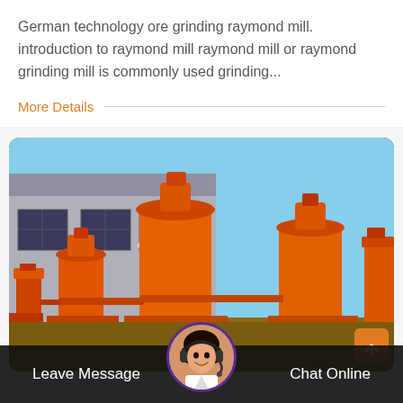German technology ore grinding raymond mill. introduction to raymond mill raymond mill or raymond grinding mill is commonly used grinding...
More Details
[Figure (photo): Photo of multiple large orange industrial raymond grinding mills parked outside a factory building, with a blue sky in the background.]
Leave Message
[Figure (photo): Circular avatar photo of a female customer service representative wearing a headset, with a purple border.]
Chat Online